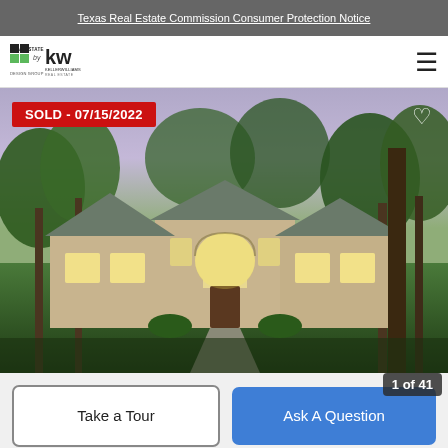Texas Real Estate Commission Consumer Protection Notice
[Figure (logo): Real Estate by Design Group / Keller Williams Real Estate logo]
[Figure (photo): Large two-story brick home with arched windows and entry, lit up at dusk, surrounded by tall oak trees on a landscaped lot. Red SOLD badge dated 07/15/2022 in upper left. Heart/favorite icon upper right.]
SOLD - 07/15/2022
Take a Tour
Ask A Question
1 of 41